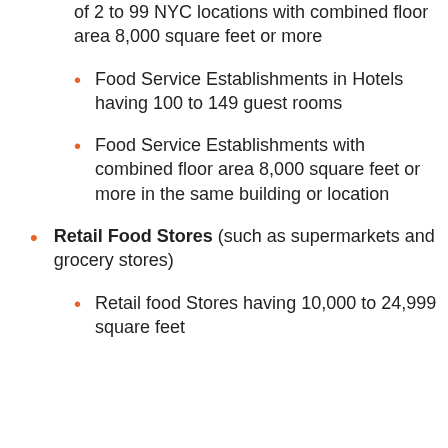of 2 to 99 NYC locations with combined floor area 8,000 square feet or more
Food Service Establishments in Hotels having 100 to 149 guest rooms
Food Service Establishments with combined floor area 8,000 square feet or more in the same building or location
Retail Food Stores (such as supermarkets and grocery stores)
Retail food Stores having 10,000 to 24,999 square feet